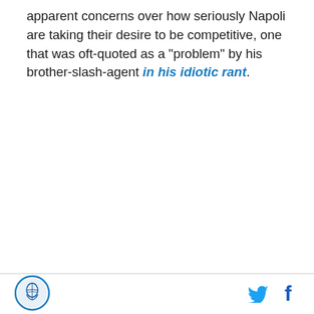apparent concerns over how seriously Napoli are taking their desire to be competitive, one that was oft-quoted as a "problem" by his brother-slash-agent in his idiotic rant.
[Figure (logo): Circular organization logo with blue border and emblem in center]
[Figure (other): Twitter bird icon (social media share button)]
[Figure (other): Facebook 'f' icon (social media share button)]